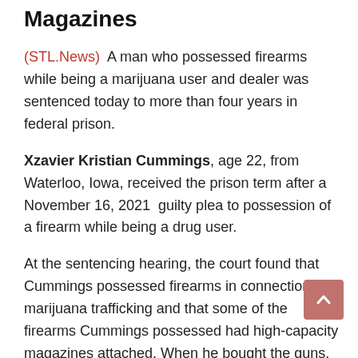Magazines
(STL.News) A man who possessed firearms while being a marijuana user and dealer was sentenced today to more than four years in federal prison.
Xzavier Kristian Cummings, age 22, from Waterloo, Iowa, received the prison term after a November 16, 2021 guilty plea to possession of a firearm while being a drug user.
At the sentencing hearing, the court found that Cummings possessed firearms in connection with marijuana trafficking and that some of the firearms Cummings possessed had high-capacity magazines attached. When he bought the guns, Cummings failed to disclose his drug use. Further evidence showed that he was using social media to distribute marijuana during